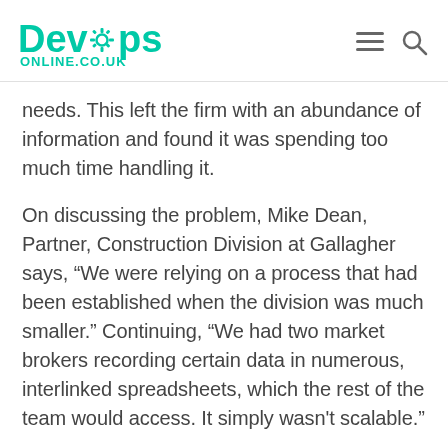DevOps ONLINE.CO.UK
needs. This left the firm with an abundance of information and found it was spending too much time handling it.
On discussing the problem, Mike Dean, Partner, Construction Division at Gallagher says, “We were relying on a process that had been established when the division was much smaller.” Continuing, “We had two market brokers recording certain data in numerous, interlinked spreadsheets, which the rest of the team would access. It simply wasn't scalable.”
Therefore, to assist with its client’s multi-faceted